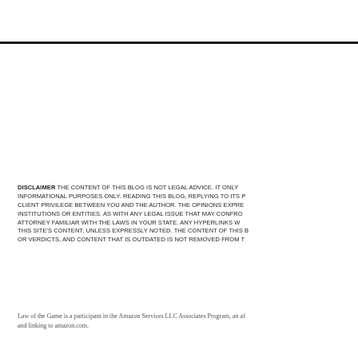DISCLAIMER THE CONTENT OF THIS BLOG IS NOT LEGAL ADVICE. IT ONLY INFORMATIONAL PURPOSES ONLY. READING THIS BLOG, REPLYING TO ITS P CLIENT PRIVILEGE BETWEEN YOU AND THE AUTHOR. THE OPINIONS EXPRE INSTITUTIONS OR ENTITIES. AS WITH ANY LEGAL ISSUE THAT MAY CONFRO ATTORNEY FAMILIAR WITH THE LAWS IN YOUR STATE. ANY HYPERLINKS W THIS SITE'S CONTENT, UNLESS EXPRESSLY NOTED. THE CONTENT OF THIS B OR VERDICTS, AND CONTENT THAT IS OUTDATED IS NOT REMOVED FROM T
Law of the Game is a participant in the Amazon Services LLC Associates Program, an af and linking to amazon.com.